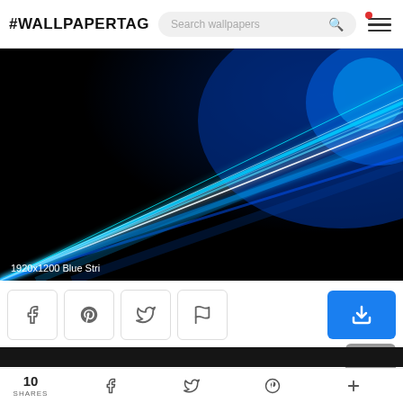#WALLPAPERTAG
[Figure (screenshot): Screenshot of wallpaper website header with logo #WALLPAPERTAG, search bar reading 'Search wallpapers', and hamburger menu icon with red notification dot]
[Figure (photo): Abstract blue glowing light streaks on black background wallpaper, labeled '1920x1200 Blue Stri' in bottom-left corner]
[Figure (screenshot): Action buttons row: Facebook, Pinterest, Twitter, Flag icons in bordered boxes, and a blue download button. Back-to-top grey button below.]
[Figure (screenshot): Next wallpaper preview strip at bottom, dark background]
10 SHARES
10 SHARES